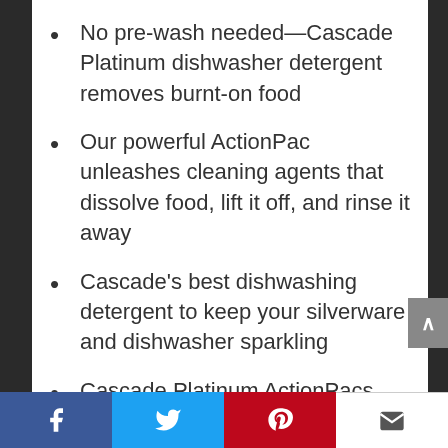No pre-wash needed—Cascade Platinum dishwasher detergent removes burnt-on food
Our powerful ActionPac unleashes cleaning agents that dissolve food, lift it off, and rinse it away
Cascade's best dishwashing detergent to keep your silverware and dishwasher sparkling
Cascade Platinum ActionPacs clean 24-hour stuck-on food so well you can skip the pre-wash. This can save up to 15 gallons of water per